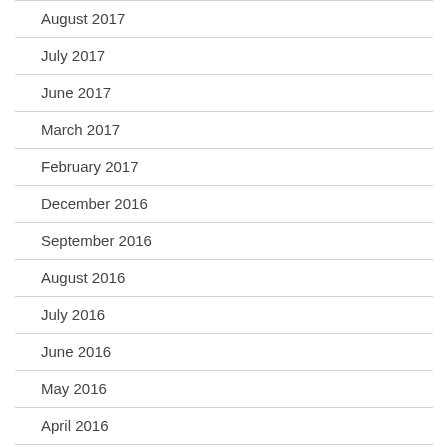August 2017
July 2017
June 2017
March 2017
February 2017
December 2016
September 2016
August 2016
July 2016
June 2016
May 2016
April 2016
March 2016